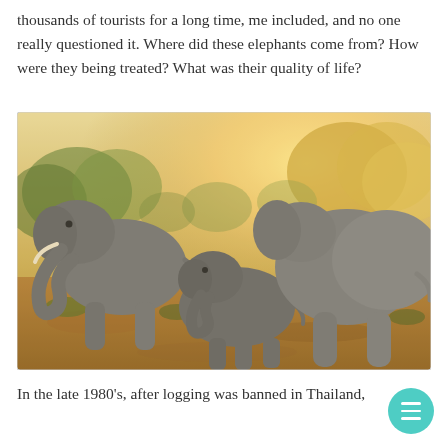thousands of tourists for a long time, me included, and no one really questioned it. Where did these elephants come from? How were they being treated? What was their quality of life?
[Figure (photo): A group of elephants — two adult elephants and one baby elephant — walking in a dry savanna landscape with golden sunlit trees and shrubs in the background.]
In the late 1980's, after logging was banned in Thailand,